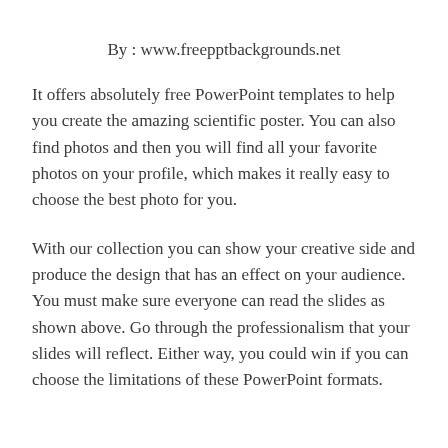By : www.freepptbackgrounds.net
It offers absolutely free PowerPoint templates to help you create the amazing scientific poster. You can also find photos and then you will find all your favorite photos on your profile, which makes it really easy to choose the best photo for you.
With our collection you can show your creative side and produce the design that has an effect on your audience. You must make sure everyone can read the slides as shown above. Go through the professionalism that your slides will reflect. Either way, you could win if you can choose the limitations of these PowerPoint formats.